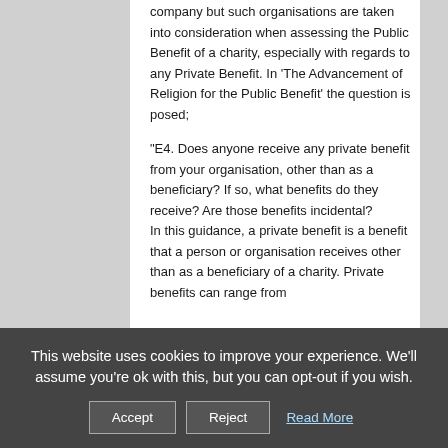company but such organisations are taken into consideration when assessing the Public Benefit of a charity, especially with regards to any Private Benefit. In 'The Advancement of Religion for the Public Benefit' the question is posed;
"E4. Does anyone receive any private benefit from your organisation, other than as a beneficiary? If so, what benefits do they receive? Are those benefits incidental?
In this guidance, a private benefit is a benefit that a person or organisation receives other than as a beneficiary of a charity. Private benefits can range from
This website uses cookies to improve your experience. We'll assume you're ok with this, but you can opt-out if you wish.